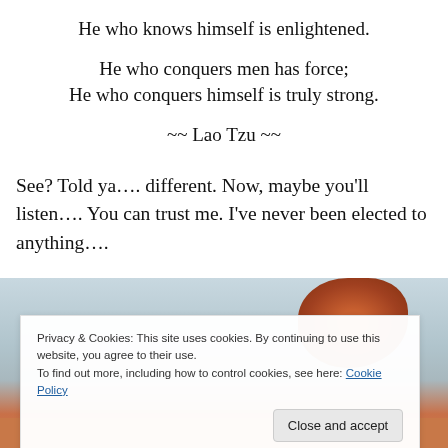He who knows himself is enlightened.
He who conquers men has force;
He who conquers himself is truly strong.
~~ Lao Tzu ~~
See? Told ya…. different. Now, maybe you'll listen…. You can trust me. I've never been elected to anything….
[Figure (photo): Partial photo of a person with reddish-brown hair visible, against a light sky/outdoor background. Bottom portion shows warm orange-brown tones.]
Privacy & Cookies: This site uses cookies. By continuing to use this website, you agree to their use.
To find out more, including how to control cookies, see here: Cookie Policy
Close and accept